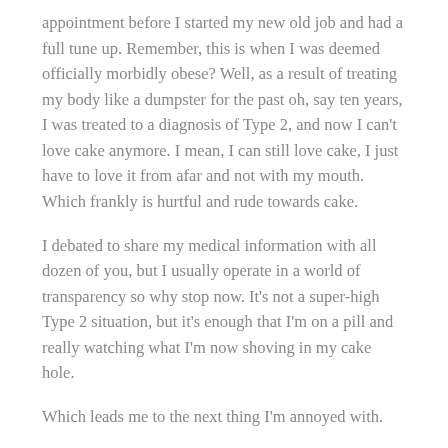appointment before I started my new old job and had a full tune up. Remember, this is when I was deemed officially morbidly obese? Well, as a result of treating my body like a dumpster for the past oh, say ten years, I was treated to a diagnosis of Type 2, and now I can't love cake anymore. I mean, I can still love cake, I just have to love it from afar and not with my mouth. Which frankly is hurtful and rude towards cake.
I debated to share my medical information with all dozen of you, but I usually operate in a world of transparency so why stop now. It's not a super-high Type 2 situation, but it's enough that I'm on a pill and really watching what I'm now shoving in my cake hole.
Which leads me to the next thing I'm annoyed with.
#2/ For about three weeks now, I've been strictly monitoring what I shove in my cake hole. Ever since we came back from our Denver chapters on a matter of finally settling this T...